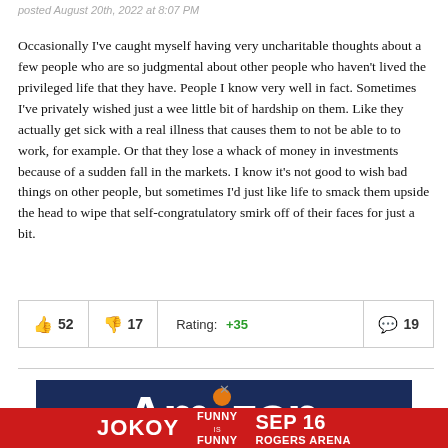posted August 20th, 2022 at 8:07 PM
Occasionally I've caught myself having very uncharitable thoughts about a few people who are so judgmental about other people who haven't lived the privileged life that they have. People I know very well in fact. Sometimes I've privately wished just a wee little bit of hardship on them. Like they actually get sick with a real illness that causes them to not be able to to work, for example. Or that they lose a whack of money in investments because of a sudden fall in the markets. I know it's not good to wish bad things on other people, but sometimes I'd just like life to smack them upside the head to wipe that self-congratulatory smirk off of their faces for just a bit.
| Thumbs up | Thumbs down | Rating | Comments |
| --- | --- | --- | --- |
| 52 | 17 | +35 | 19 |
[Figure (screenshot): Advertisement banner: Amazon logo on dark blue background with close button (×), and a bottom red banner for Jo Koy Funny is Funny show on Sep 16 at Rogers Arena]